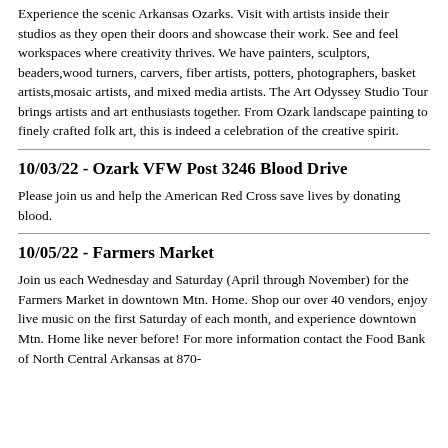Experience the scenic Arkansas Ozarks. Visit with artists inside their studios as they open their doors and showcase their work. See and feel workspaces where creativity thrives. We have painters, sculptors, beaders,wood turners, carvers, fiber artists, potters, photographers, basket artists,mosaic artists, and mixed media artists. The Art Odyssey Studio Tour brings artists and art enthusiasts together. From Ozark landscape painting to finely crafted folk art, this is indeed a celebration of the creative spirit.
10/03/22 - Ozark VFW Post 3246 Blood Drive
Please join us and help the American Red Cross save lives by donating blood.
10/05/22 - Farmers Market
Join us each Wednesday and Saturday (April through November) for the Farmers Market in downtown Mtn. Home. Shop our over 40 vendors, enjoy live music on the first Saturday of each month, and experience downtown Mtn. Home like never before! For more information contact the Food Bank of North Central Arkansas at 870-